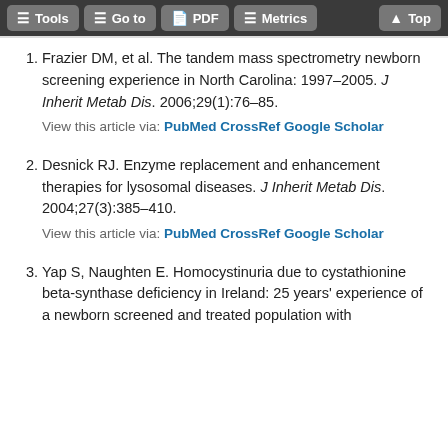Tools | Go to | PDF | Metrics | Top
Frazier DM, et al. The tandem mass spectrometry newborn screening experience in North Carolina: 1997–2005. J Inherit Metab Dis. 2006;29(1):76–85. View this article via: PubMed CrossRef Google Scholar
Desnick RJ. Enzyme replacement and enhancement therapies for lysosomal diseases. J Inherit Metab Dis. 2004;27(3):385–410. View this article via: PubMed CrossRef Google Scholar
Yap S, Naughten E. Homocystinuria due to cystathionine beta-synthase deficiency in Ireland: 25 years' experience of a newborn screened and treated population with...